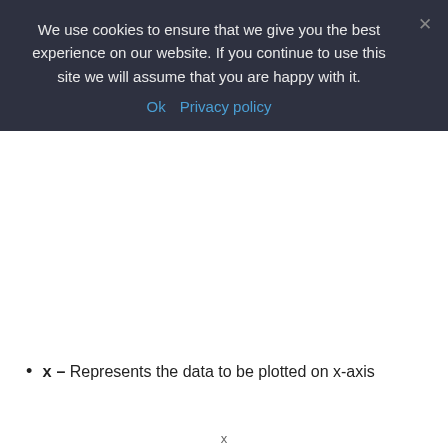We use cookies to ensure that we give you the best experience on our website. If you continue to use this site we will assume that you are happy with it.
Ok   Privacy policy
x – Represents the data to be plotted on x-axis